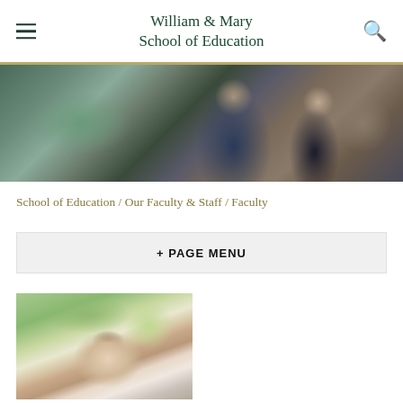William & Mary School of Education
[Figure (photo): Two women in conversation, one with short blonde hair in a blazer, another with dark hair in a bun, in an academic setting]
School of Education / Our Faculty & Staff / Faculty
+ PAGE MENU
[Figure (photo): Faculty member headshot: woman with short dark curly hair smiling outdoors with greenery in background]